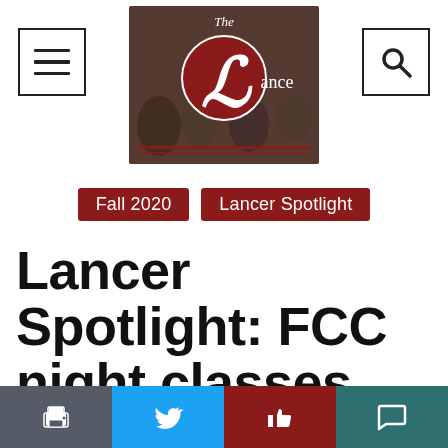The Lance
Fall 2020  Lancer Spotlight
Lancer Spotlight: FCC night classes offer Blockinger a pulse-ible way to study nursing